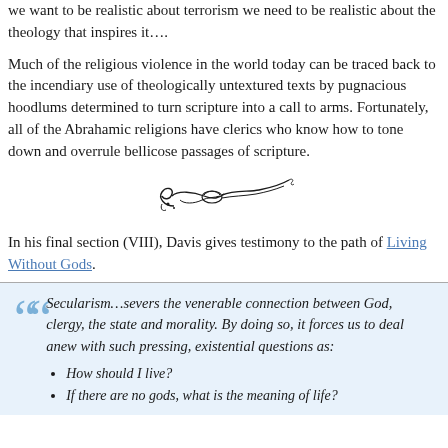we want to be realistic about terrorism we need to be realistic about the theology that inspires it….
Much of the religious violence in the world today can be traced back to the incendiary use of theologically untextured texts by pugnacious hoodlums determined to turn scripture into a call to arms. Fortunately, all of the Abrahamic religions have clerics who know how to tone down and overrule bellicose passages of scripture.
[Figure (illustration): Decorative calligraphic ornament/flourish divider]
In his final section (VIII), Davis gives testimony to the path of Living Without Gods.
Secularism…severs the venerable connection between God, clergy, the state and morality. By doing so, it forces us to deal anew with such pressing, existential questions as:
How should I live?
If there are no gods, what is the meaning of life?